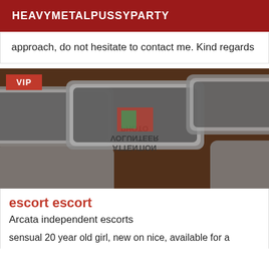HEAVYMETALPUSSYPARTY
approach, do not hesitate to contact me. Kind regards
[Figure (photo): Close-up photo of metallic photo ID-style badges with embossed text reading 'ATTENTION PHOTO VOLUNTEER', partially mirrored/reflected, overlapping at angles. A red 'VIP' badge is overlaid in the top-left corner.]
escort escort
Arcata independent escorts
sensual 20 year old girl, new on nice, available for a